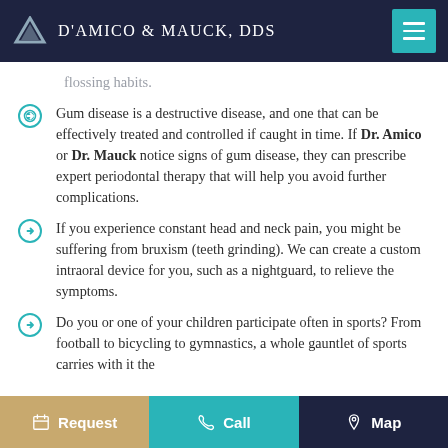D'Amico & Mauck, DDS
flossing habits.
Gum disease is a destructive disease, and one that can be effectively treated and controlled if caught in time. If Dr. Amico or Dr. Mauck notice signs of gum disease, they can prescribe expert periodontal therapy that will help you avoid further complications.
If you experience constant head and neck pain, you might be suffering from bruxism (teeth grinding). We can create a custom intraoral device for you, such as a nightguard, to relieve the symptoms.
Do you or one of your children participate often in sports? From football to bicycling to gymnastics, a whole gauntlet of sports carries with it the
Request   Call   Map